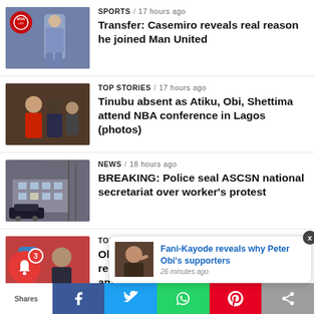[Figure (screenshot): News listing app screenshot showing 4 news articles with thumbnails, a notification popup, and a sharing toolbar at the bottom]
SPORTS / 17 hours ago
Transfer: Casemiro reveals real reason he joined Man United
TOP STORIES / 17 hours ago
Tinubu absent as Atiku, Obi, Shettima attend NBA conference in Lagos (photos)
NEWS / 18 hours ago
BREAKING: Police seal ASCSN national secretariat over worker's protest
TOP STORIES / 20 hours ago
Oleksandr Usyk declares what Putin really is as he dedicates win to Ukraine amid the on…
Fani-Kayode reveals why Peter Obi's supporters
26 minutes ago